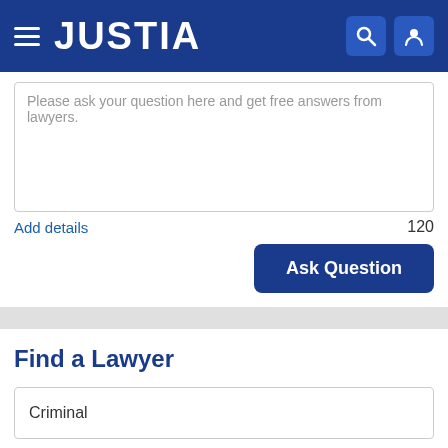JUSTIA
Please ask your question here and get free answers from lawyers.
Add details
120
Ask Question
Find a Lawyer
Criminal
West Virginia
Search
Lawyers - Get Listed Now!